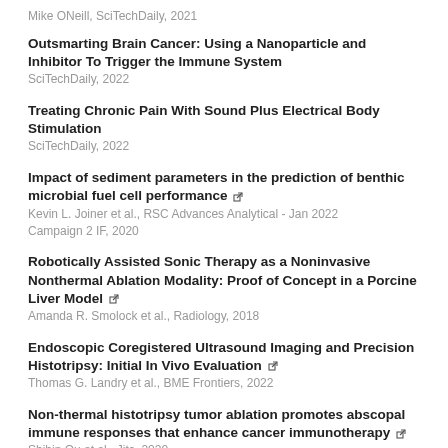Mike ONeill, SciTechDaily, 2021
Outsmarting Brain Cancer: Using a Nanoparticle and Inhibitor To Trigger the Immune System
SciTechDaily, 2022
Treating Chronic Pain With Sound Plus Electrical Body Stimulation
SciTechDaily, 2022
Impact of sediment parameters in the prediction of benthic microbial fuel cell performance
Kevin L. Joiner et al., RSC Advances Analytical - Jan 2022
Campaign 2 IF, 2020
Robotically Assisted Sonic Therapy as a Noninvasive Nonthermal Ablation Modality: Proof of Concept in a Porcine Liver Model
Amanda R. Smolock et al., Radiology, 2018
Endoscopic Coregistered Ultrasound Imaging and Precision Histotripsy: Initial In Vivo Evaluation
Thomas G. Landry et al., BME Frontiers, 2022
Non-thermal histotripsy tumor ablation promotes abscopal immune responses that enhance cancer immunotherapy
Shibin Qu et al., Jitc, 2020